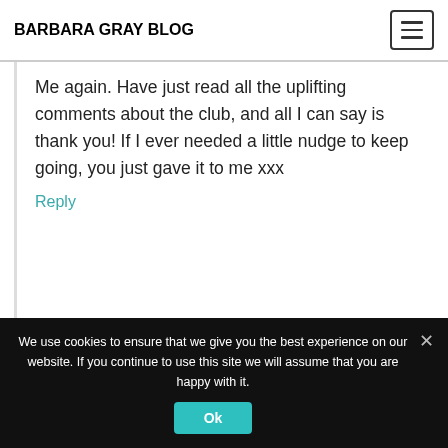BARBARA GRAY BLOG
Me again. Have just read all the uplifting comments about the club, and all I can say is thank you! If I ever needed a little nudge to keep going, you just gave it to me xxx
Reply
We use cookies to ensure that we give you the best experience on our website. If you continue to use this site we will assume that you are happy with it.
Ok